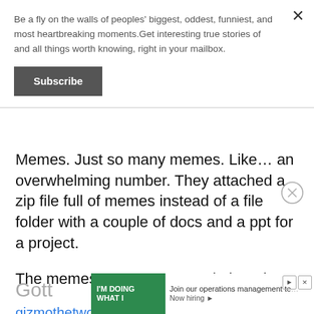Be a fly on the walls of peoples' biggest, oddest, funniest, and most heartbreaking moments.Get interesting true stories of and all things worth knowing, right in your mailbox.
Subscribe
Memes. Just so many memes. Like… an overwhelming number. They attached a zip file full of memes instead of a file folder with a couple of docs and a ppt for a project.
The memes were pretty good, though.
gizmothetwotoncat
Gott
[Figure (screenshot): Advertisement banner: green left section with 'I'M DOING WHAT I' text, white right section with 'Join our operations management te...' and 'Now hiring ▸' text, with ad icons on right]